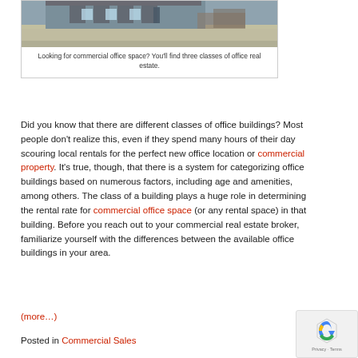[Figure (photo): Exterior photo of a commercial office building with stone facade and parking area]
Looking for commercial office space? You'll find three classes of office real estate.
Did you know that there are different classes of office buildings? Most people don't realize this, even if they spend many hours of their day scouring local rentals for the perfect new office location or commercial property. It's true, though, that there is a system for categorizing office buildings based on numerous factors, including age and amenities, among others. The class of a building plays a huge role in determining the rental rate for commercial office space (or any rental space) in that building. Before you reach out to your commercial real estate broker, familiarize yourself with the differences between the available office buildings in your area.
(more…)
Posted in Commercial Sales